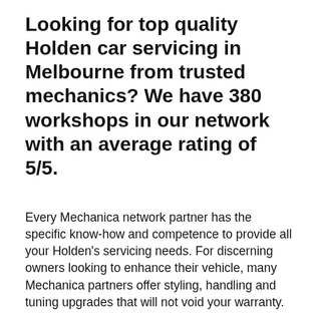Looking for top quality Holden car servicing in Melbourne from trusted mechanics? We have 380 workshops in our network with an average rating of 5/5.
Every Mechanica network partner has the specific know-how and competence to provide all your Holden's servicing needs. For discerning owners looking to enhance their vehicle, many Mechanica partners offer styling, handling and tuning upgrades that will not void your warranty.